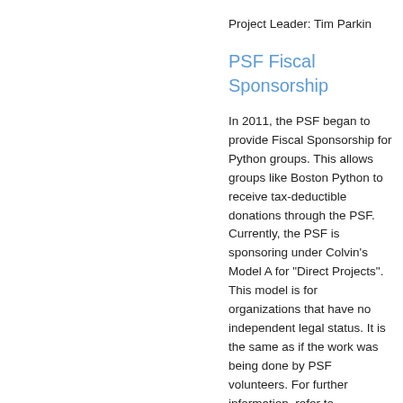Project Leader: Tim Parkin
PSF Fiscal Sponsorship
In 2011, the PSF began to provide Fiscal Sponsorship for Python groups. This allows groups like Boston Python to receive tax-deductible donations through the PSF. Currently, the PSF is sponsoring under Colvin's Model A for "Direct Projects". This model is for organizations that have no independent legal status. It is the same as if the work was being done by PSF volunteers. For further information, refer to